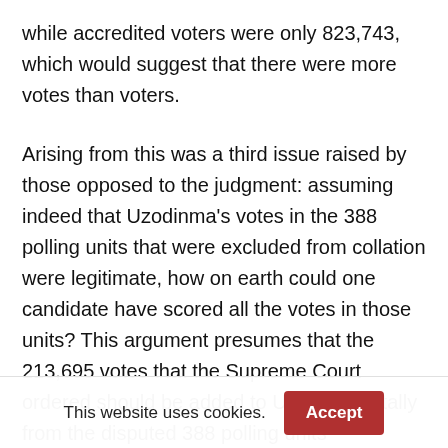while accredited voters were only 823,743, which would suggest that there were more votes than voters.
Arising from this was a third issue raised by those opposed to the judgment: assuming indeed that Uzodinma's votes in the 388 polling units that were excluded from collation were legitimate, how on earth could one candidate have scored all the votes in those units? This argument presumes that the 213,695 votes that the Supreme Court ordered should be added to Uzodinma's tally from the disputed 388 polling units represented the entire
This website uses cookies.